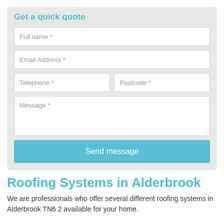Get a quick quote
[Figure (other): Web form with fields: Full name *, Email Address *, Telephone *, Postcode *, Message *, and a Send message button]
Roofing Systems in Alderbrook
We are professionals who offer several different roofing systems in Alderbrook TN6 2 available for your home.